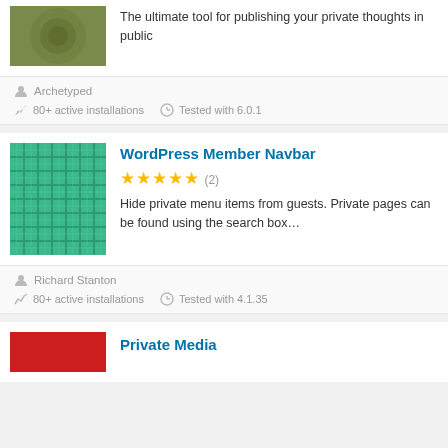[Figure (screenshot): Olive/green patterned plugin thumbnail (partially visible at top)]
The ultimate tool for publishing your private thoughts in public
Archetyped
80+ active installations
Tested with 6.0.1
[Figure (screenshot): Teal plaid/tartan patterned plugin thumbnail]
WordPress Member Navbar
★★★★★ (2)
Hide private menu items from guests. Private pages can be found using the search box…
Richard Stanton
80+ active installations
Tested with 4.1.35
[Figure (screenshot): Red plugin thumbnail (partially visible at bottom)]
Private Media